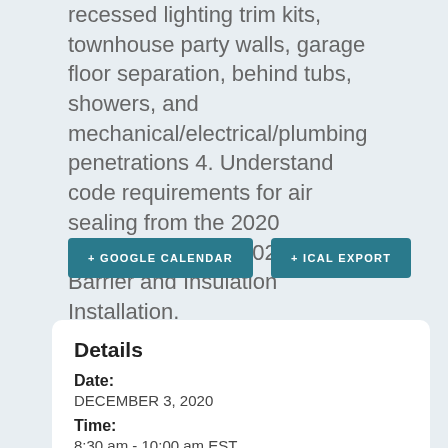recessed lighting trim kits, townhouse party walls, garage floor separation, behind tubs, showers, and mechanical/electrical/plumbing penetrations
4. Understand code requirements for air sealing from the 2020 ECCCNYS Table 402.4.1.1 Air Barrier and Insulation Installation.
+ GOOGLE CALENDAR
+ ICAL EXPORT
Details
Date:
DECEMBER 3, 2020
Time:
8:30 am - 10:00 am EST
Event Category:
New York Energy Code Training
Website: